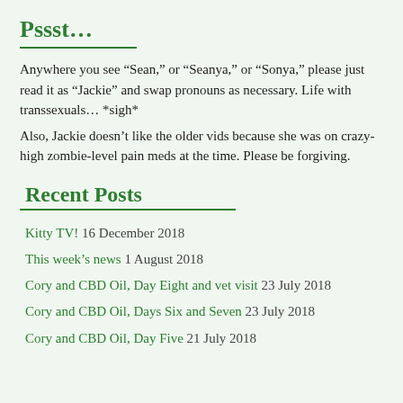Pssst…
Anywhere you see “Sean,” or “Seanya,” or “Sonya,” please just read it as “Jackie” and swap pronouns as necessary. Life with transsexuals… *sigh*
Also, Jackie doesn’t like the older vids because she was on crazy-high zombie-level pain meds at the time. Please be forgiving.
Recent Posts
Kitty TV! 16 December 2018
This week’s news 1 August 2018
Cory and CBD Oil, Day Eight and vet visit 23 July 2018
Cory and CBD Oil, Days Six and Seven 23 July 2018
Cory and CBD Oil, Day Five 21 July 2018